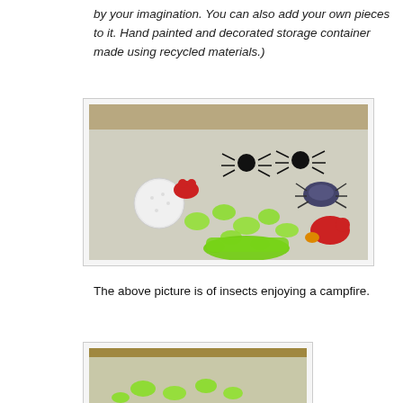by your imagination. You can also add your own pieces to it. Hand painted and decorated storage container made using recycled materials.)
[Figure (photo): Photo of small toy insects (black spiders, green figurines), a golf ball, green gem pieces, red frog and red fish toys arranged on a white surface, described as insects enjoying a campfire.]
The above picture is of insects enjoying a campfire.
[Figure (photo): Partial photo showing green toy figurines on a surface, cropped at bottom of page.]